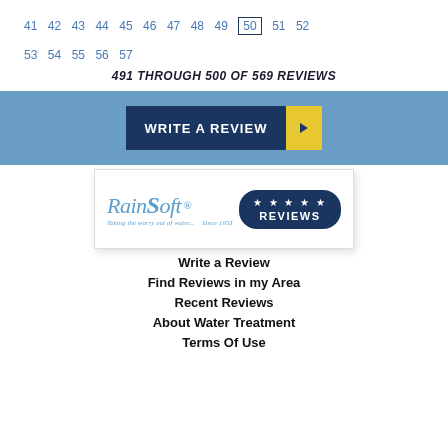41 42 43 44 45 46 47 48 49 50 51 52 53 54 55 56 57
491 THROUGH 500 OF 569 REVIEWS
[Figure (infographic): Blue banner with 'WRITE A REVIEW' button in dark navy blue with yellow arrow]
[Figure (logo): RainSoft logo with tagline 'Taking the worry out of water... Since 1953' and dark navy REVIEWS badge with stars]
Write a Review
Find Reviews in my Area
Recent Reviews
About Water Treatment
Terms Of Use